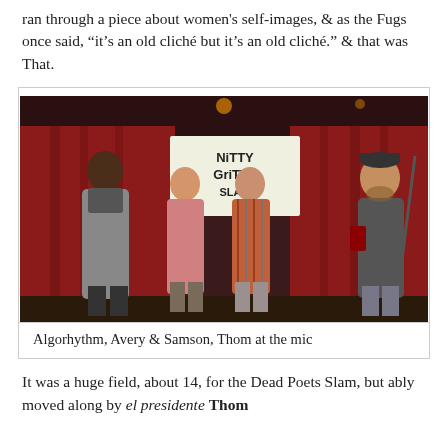ran through a piece about women's self-images, & as the Fugs once said, “it’s an old cliché but it’s an old cliché.” & that was That.
[Figure (photo): Four people standing together in front of a dark red curtain backdrop with a 'Nitty Gritty Slam' banner. From left: a tall Black man in a grey hoodie, a shorter man in a pink shirt, a man in a plaid shirt with his arm around the previous person, and a man on the right holding a drink and speaking into a microphone.]
Algorhythm, Avery & Samson, Thom at the mic
It was a huge field, about 14, for the Dead Poets Slam, but ably moved along by el presidente Thom